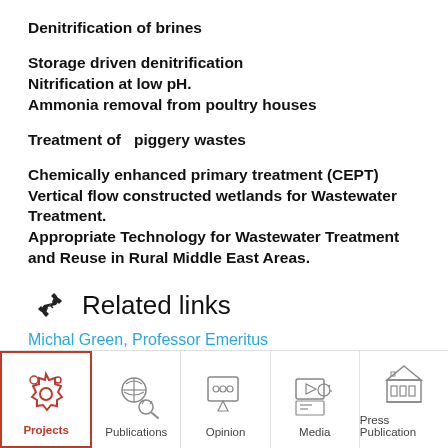Denitrification of brines
Storage driven denitrification
Nitrification at low pH.
Ammonia removal from poultry houses
Treatment of  piggery wastes
Chemically enhanced primary treatment (CEPT)
Vertical flow constructed wetlands for Wastewater Treatment.
Appropriate Technology for Wastewater Treatment and Reuse in Rural Middle East Areas.
Related links
Michal Green, Professor Emeritus
[Figure (infographic): Navigation bar with five items: Projects (active, red icon), Publications, Opinion, Media, Press Publication]
Projects
Publications
Opinion
Media
Press Publication